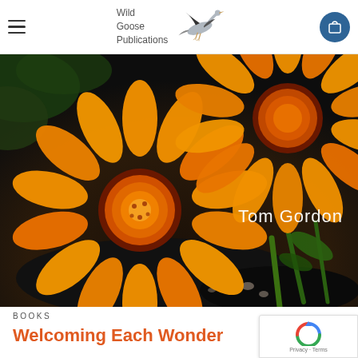Wild Goose Publications
[Figure (photo): Close-up photo of two bright orange gazania (African daisy) flowers with dark centres, on a dark soil background with green foliage. White text overlay reads 'Tom Gordon'.]
BOOKS
Welcoming Each Wonder